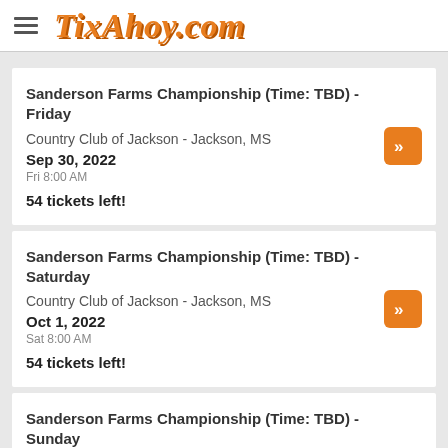TixAhoy.com
Sanderson Farms Championship (Time: TBD) - Friday
Country Club of Jackson - Jackson, MS
Sep 30, 2022
Fri 8:00 AM
54 tickets left!
Sanderson Farms Championship (Time: TBD) - Saturday
Country Club of Jackson - Jackson, MS
Oct 1, 2022
Sat 8:00 AM
54 tickets left!
Sanderson Farms Championship (Time: TBD) - Sunday